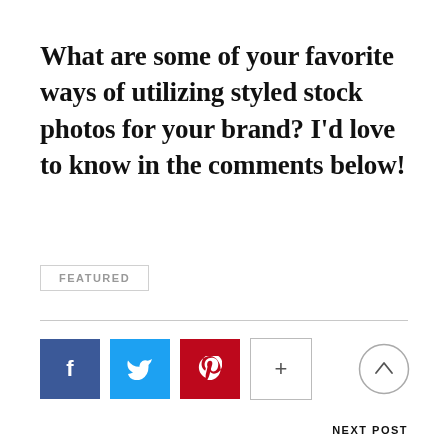What are some of your favorite ways of utilizing styled stock photos for your brand? I'd love to know in the comments below!
FEATURED
[Figure (infographic): Social sharing buttons: Facebook (blue), Twitter (cyan), Pinterest (red), plus button (outlined), and a circular scroll-to-top arrow button on the right]
NEXT POST